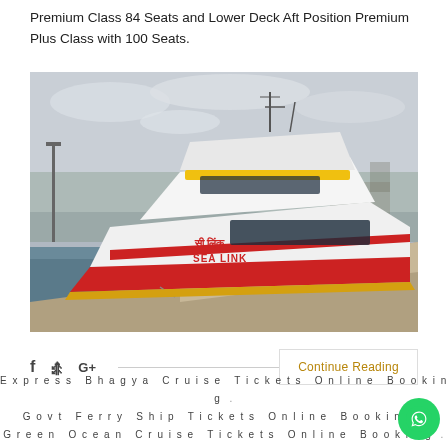Premium Class 84 Seats and Lower Deck Aft Position Premium Plus Class with 100 Seats.
[Figure (photo): A red and white high-speed ferry named 'SEA LINK' docked at a port pier. The vessel has a yellow stripe near the top, and the hull shows the name in both Hindi (सी लिंक) and English (SEA LINK). The dock is concrete and the sky is overcast.]
f  ✓  G+  Continue Reading
Express Bhagya Cruise Tickets Online Booking . Govt Ferry Ship Tickets Online Booking . Green Ocean Cruise Tickets Online Booking .